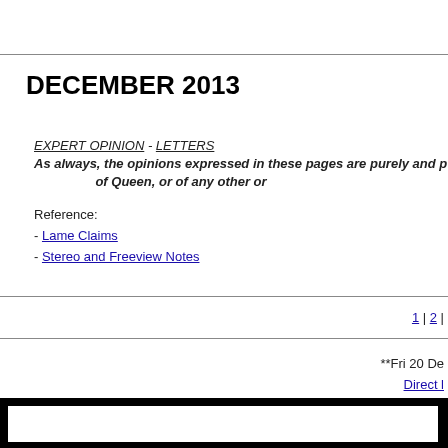DECEMBER 2013
EXPERT OPINION - LETTERS
As always, the opinions expressed in these pages are purely and p[ersonal]... of Queen, or of any other or[ganisation]
Reference:
- Lame Claims
- Stereo and Freeview Notes
1 | 2 |
**Fri 20 De[cember 2013]
Direct [link]